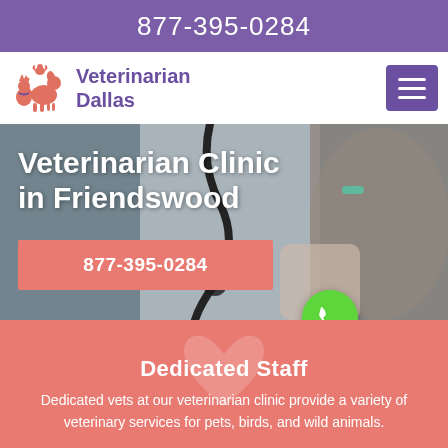877-395-0284
[Figure (logo): Veterinarian Dallas logo with dog, cat and bird silhouettes in salmon/orange color]
Veterinarian Dallas
[Figure (photo): Background photo of a veterinarian in white coat with stethoscope examining a cat]
Veterinarian Clinic in Friendswood
877-395-0284
[Figure (illustration): Green circle phone call button icon]
Dedicated Staff
Dedicated vets at our veterinarian clinic provide a variety of veterinary services for pets, birds, and wild animals.